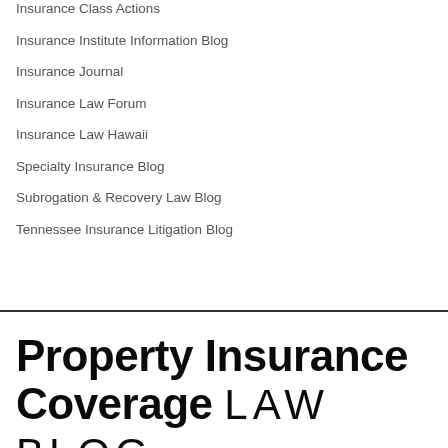Insurance Class Actions
Insurance Institute Information Blog
Insurance Journal
Insurance Law Forum
Insurance Law Hawaii
Specialty Insurance Blog
Subrogation & Recovery Law Blog
Tennessee Insurance Litigation Blog
Property Insurance Coverage LAW BLOG